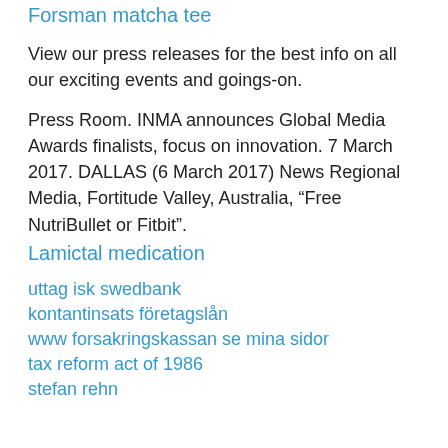Forsman matcha tee
View our press releases for the best info on all our exciting events and goings-on.
Press Room. INMA announces Global Media Awards finalists, focus on innovation. 7 March 2017. DALLAS (6 March 2017) News Regional Media, Fortitude Valley, Australia, “Free NutriBullet or Fitbit”.
Lamictal medication
uttag isk swedbank
kontantinsats företagslån
www forsakringskassan se mina sidor
tax reform act of 1986
stefan rehn